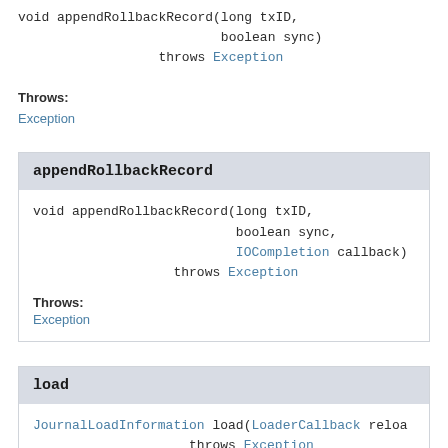void appendRollbackRecord(long txID,
                          boolean sync)
                  throws Exception
Throws:
Exception
appendRollbackRecord
void appendRollbackRecord(long txID,
                          boolean sync,
                          IOCompletion callback)
                  throws Exception
Throws:
Exception
load
JournalLoadInformation load(LoaderCallback reload
                    throws Exception